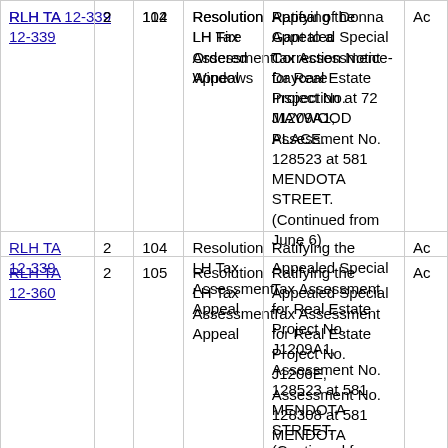| Case |  |  | Type | Description |  |
| --- | --- | --- | --- | --- | --- |
| RLH TA 12-339 | 2 | 104 | Resolution LH Tax Assessment Appeal | Ratifying the Appealed Special Tax Assessment for Real Estate Project No. J1209A1, Assessment No. 128523 at 581 MENDOTA STREET. (Continued from June 6) | Ac |
| RLH TA 12-360 | 2 | 105 | Resolution LH Tax Assessment Appeal | Ratifying the Appealed Special Tax Assessment for Real Estate Project No. J1206E, Assessment No. 128308 at 581 MENDOTA STREET. | Ac |
| RLH TA 12-250 | 4 | 106 | Resolution LH Tax Assessment | Ratifying the Appealed Special Tax Assessment for Real | Ac |